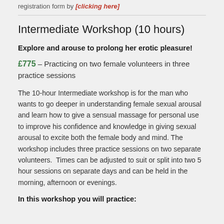registration form by [clicking here]
Intermediate Workshop (10 hours)
Explore and arouse to prolong her erotic pleasure!
£775 – Practicing on two female volunteers in three practice sessions
The 10-hour Intermediate workshop is for the man who wants to go deeper in understanding female sexual arousal and learn how to give a sensual massage for personal use to improve his confidence and knowledge in giving sexual arousal to excite both the female body and mind. The workshop includes three practice sessions on two separate volunteers.  Times can be adjusted to suit or split into two 5 hour sessions on separate days and can be held in the morning, afternoon or evenings.
In this workshop you will practice: